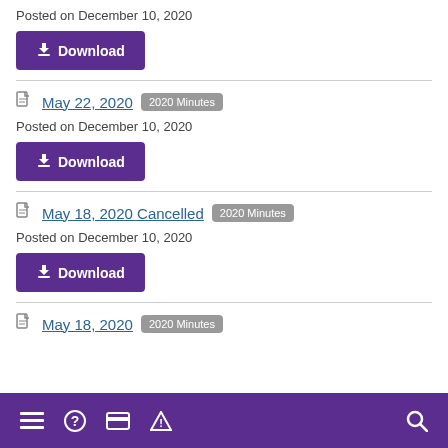Posted on December 10, 2020
Download
May 22, 2020  2020 Minutes
Posted on December 10, 2020
Download
May 18, 2020 Cancelled  2020 Minutes
Posted on December 10, 2020
Download
May 18, 2020  2020 Minutes
☰  ?  🖩  ⚠  🔍